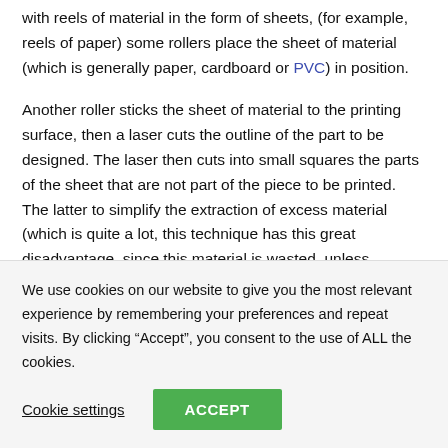with reels of material in the form of sheets, (for example, reels of paper) some rollers place the sheet of material (which is generally paper, cardboard or PVC) in position.
Another roller sticks the sheet of material to the printing surface, then a laser cuts the outline of the part to be designed. The laser then cuts into small squares the parts of the sheet that are not part of the piece to be printed. The latter to simplify the extraction of excess material (which is quite a lot, this technique has this great disadvantage, since this material is wasted, unless another company is in charge
We use cookies on our website to give you the most relevant experience by remembering your preferences and repeat visits. By clicking “Accept”, you consent to the use of ALL the cookies.
Cookie settings
ACCEPT